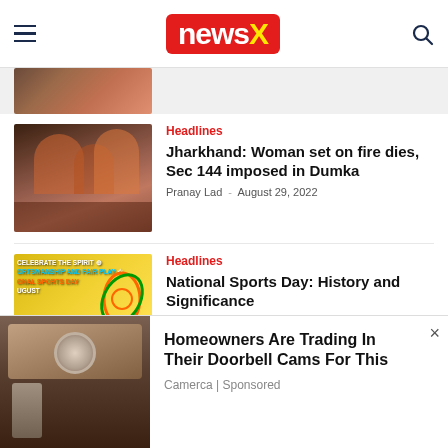newsX
[Figure (screenshot): Partially visible news thumbnail image cropped at top]
[Figure (photo): Crowd scene photo thumbnail for Jharkhand news story]
Headlines
Jharkhand: Woman set on fire dies, Sec 144 imposed in Dumka
Pranay Lad  -  August 29, 2022
[Figure (photo): National Sports Day promotional image thumbnail]
Headlines
National Sports Day: History and Significance
Pranay Lad  -  August 29, 2022
RELATED NEWS
[Figure (photo): Security camera mounted on wall - advertisement image]
Homeowners Are Trading In Their Doorbell Cams For This
Camerca | Sponsored